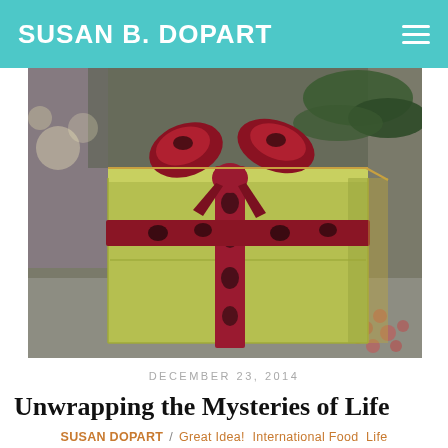SUSAN B. DOPART
[Figure (photo): A wrapped gift box with olive green/yellow-green wrapping paper and a large dark red/burgundy ribbon with black floral pattern, tied in a bow on top. Pine branches and red berries visible in the background.]
DECEMBER 23, 2014
Unwrapping the Mysteries of Life
SUSAN DOPART / Great Idea! International Food Life Lessons Motivational Interviewing Rethink This! Wellness